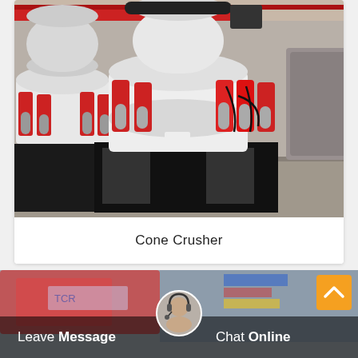[Figure (photo): Industrial cone crushers in a factory setting. Large white conical crushing machines with red hydraulic cylinders and silver accumulators mounted on black steel frames. Multiple units visible in a warehouse environment with red overhead cranes.]
Cone Crusher
[Figure (photo): Bottom section showing a blurred background image of red industrial machinery with a customer service interface overlay. An orange scroll-to-top button with upward chevron arrow is in the top right. A dark semi-transparent bar at the bottom shows 'Leave Message' on the left and 'Chat Online' on the right, with a circular avatar of a female customer service representative in the center.]